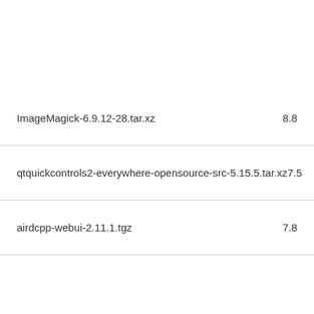ImageMagick-6.9.12-28.tar.xz   8.8
qtquickcontrols2-everywhere-opensource-src-5.15.5.tar.xz   7.5
airdcpp-webui-2.11.1.tgz   7.8
(partial row at bottom)